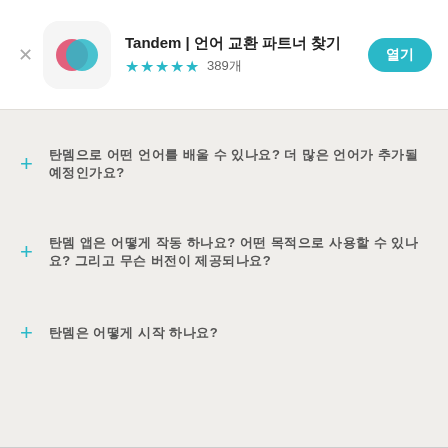Tandem | 언어 교환 파트너 찾기 ★★★★☆ 389개 열기
+ 탄뎀으로 어떤 언어를 배울 수 있나요? 더 많은 언어가 추가될 예정인가요?
+ 탄뎀 앱은 어떻게 작동 하나요? 어떤 목적으로 사용할 수 있나요? 그리고 무슨 버전이 제공되나요?
+ 탄뎀은 어떻게 시작 하나요?